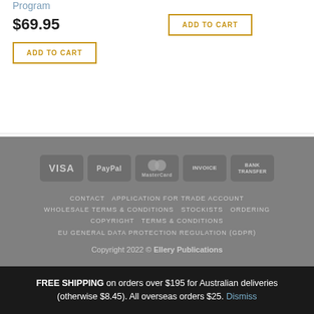Program
$69.95
ADD TO CART
ADD TO CART
[Figure (other): Payment method icons: VISA, PayPal, MasterCard, INVOICE, BANK TRANSFER]
CONTACT   APPLICATION FOR TRADE ACCOUNT   WHOLESALE TERMS & CONDITIONS   STOCKISTS   ORDERING   COPYRIGHT   TERMS & CONDITIONS   EU GENERAL DATA PROTECTION REGULATION (GDPR)

Copyright 2022 © Ellery Publications
FREE SHIPPING on orders over $195 for Australian deliveries (otherwise $8.45). All overseas orders $25. Dismiss